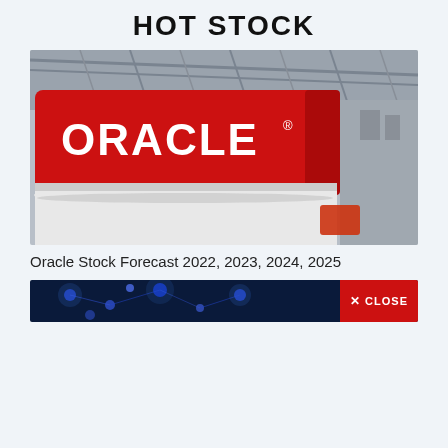HOT STOCK
[Figure (photo): Oracle branded circular hanging sign with white ORACLE text on red background, photographed indoors at an exhibition or trade show. The cylindrical sign is suspended from the ceiling with metal trusses visible in the background.]
Oracle Stock Forecast 2022, 2023, 2024, 2025
[Figure (photo): Partially visible image with blue tones, likely a technology or stock market themed photo. A red CLOSE button with an X icon is overlaid on the bottom-right corner.]